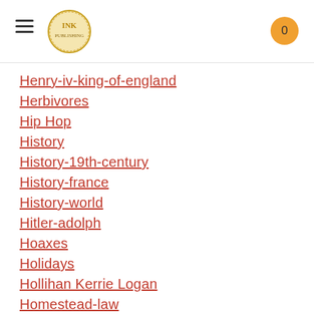INK logo, hamburger menu, cart (0)
Henry-iv-king-of-england
Herbivores
Hip Hop
History
History-19th-century
History-france
History-world
Hitler-adolph
Hoaxes
Holidays
Hollihan Kerrie Logan
Homestead-law
Hopper-grace
Horses